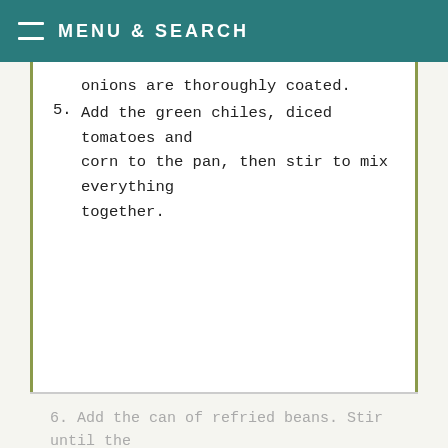MENU & SEARCH
onions are thoroughly coated.
5. Add the green chiles, diced tomatoes and corn to the pan, then stir to mix everything together.
6. Add the can of refried beans. Stir until the